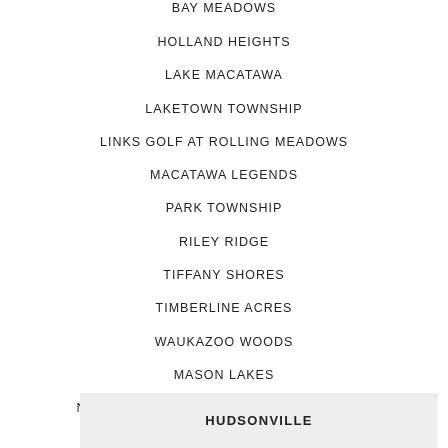BAY MEADOWS
HOLLAND HEIGHTS
LAKE MACATAWA
LAKETOWN TOWNSHIP
LINKS GOLF AT ROLLING MEADOWS
MACATAWA LEGENDS
PARK TOWNSHIP
RILEY RIDGE
TIFFANY SHORES
TIMBERLINE ACRES
WAUKAZOO WOODS
MASON LAKES
NEW CONSTRUCTION HOLLAND MICHIGAN
HUDSONVILLE